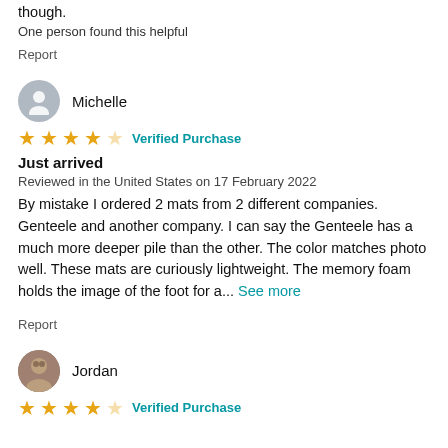though.
One person found this helpful
Report
Michelle
4 stars, Verified Purchase
Just arrived
Reviewed in the United States on 17 February 2022
By mistake I ordered 2 mats from 2 different companies. Genteele and another company. I can say the Genteele has a much more deeper pile than the other. The color matches photo well. These mats are curiously lightweight. The memory foam holds the image of the foot for a... See more
Report
Jordan
4 stars, Verified Purchase